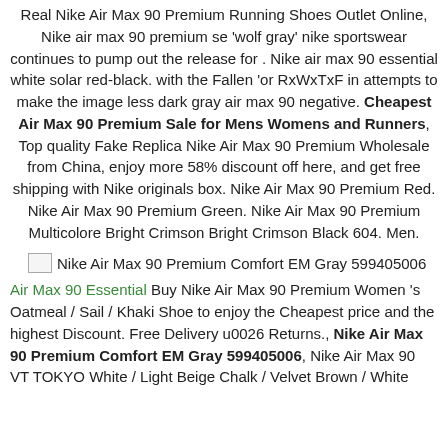Real Nike Air Max 90 Premium Running Shoes Outlet Online, Nike air max 90 premium se 'wolf gray' nike sportswear continues to pump out the release for . Nike air max 90 essential white solar red-black. with the Fallen 'or RxWxTxF in attempts to make the image less dark gray air max 90 negative. Cheapest Air Max 90 Premium Sale for Mens Womens and Runners, Top quality Fake Replica Nike Air Max 90 Premium Wholesale from China, enjoy more 58% discount off here, and get free shipping with Nike originals box. Nike Air Max 90 Premium Red. Nike Air Max 90 Premium Green. Nike Air Max 90 Premium Multicolore Bright Crimson Bright Crimson Black 604. Men.
[Figure (other): Broken image placeholder for Nike Air Max 90 Premium Comfort EM Gray 599405006]
Air Max 90 Essential Buy Nike Air Max 90 Premium Women 's Oatmeal / Sail / Khaki Shoe to enjoy the Cheapest price and the highest Discount. Free Delivery u0026 Returns., Nike Air Max 90 Premium Comfort EM Gray 599405006, Nike Air Max 90 VT TOKYO White / Light Beige Chalk / Velvet Brown / White